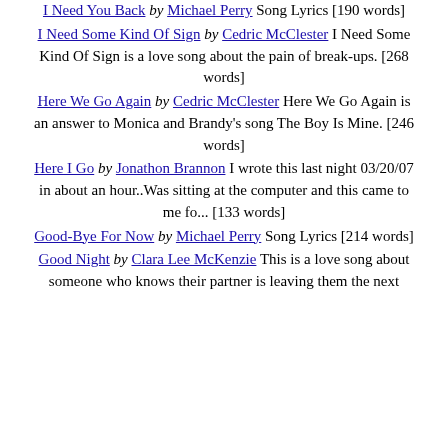I Need You Back by Michael Perry Song Lyrics [190 words]
I Need Some Kind Of Sign by Cedric McClester I Need Some Kind Of Sign is a love song about the pain of break-ups. [268 words]
Here We Go Again by Cedric McClester Here We Go Again is an answer to Monica and Brandy's song The Boy Is Mine. [246 words]
Here I Go by Jonathon Brannon I wrote this last night 03/20/07 in about an hour..Was sitting at the computer and this came to me fo... [133 words]
Good-Bye For Now by Michael Perry Song Lyrics [214 words]
Good Night by Clara Lee McKenzie This is a love song about someone who knows their partner is leaving them the next